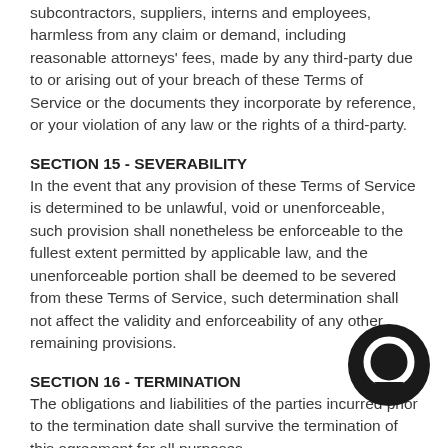subcontractors, suppliers, interns and employees, harmless from any claim or demand, including reasonable attorneys' fees, made by any third-party due to or arising out of your breach of these Terms of Service or the documents they incorporate by reference, or your violation of any law or the rights of a third-party.
SECTION 15 - SEVERABILITY
In the event that any provision of these Terms of Service is determined to be unlawful, void or unenforceable, such provision shall nonetheless be enforceable to the fullest extent permitted by applicable law, and the unenforceable portion shall be deemed to be severed from these Terms of Service, such determination shall not affect the validity and enforceability of any other remaining provisions.
SECTION 16 - TERMINATION
The obligations and liabilities of the parties incurred prior to the termination date shall survive the termination of this agreement for all purposes.
These Terms of Service are effective unless and until terminated by either you or us. You may terminate these